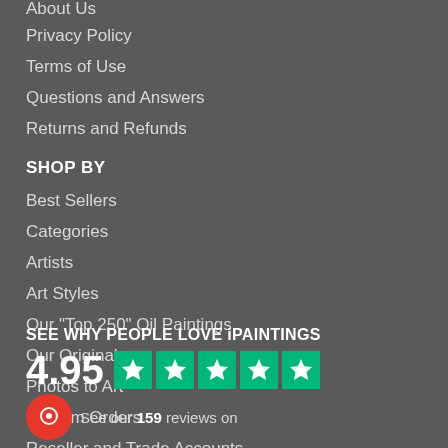About Us
Privacy Policy
Terms of Use
Questions and Answers
Returns and Refunds
SHOP BY
Best Sellers
Categories
Artists
Art Styles
Our "Top 250" Oil Paintings
Our Originals
Photos to Art
Custom Orders
Reseller and Trade Accounts
SEE WHY PEOPLE LOVE iPAINTINGS
4.95 ★★★★★ See our 159 reviews on